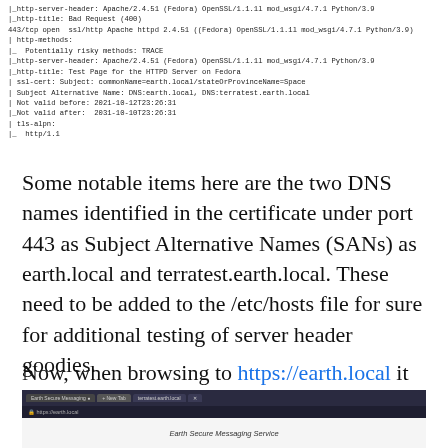[Figure (screenshot): Terminal/code output showing nmap scan results with HTTP server headers, HTTP title showing Bad Request (400), port 443 open with Apache httpd 2.4.51, HTTP methods, SSL certificate details including Subject Alternative Names DNS:earth.local and DNS:terratest.earth.local, validity dates, and TLS-alpn info showing http/1.1]
Some notable items here are the two DNS names identified in the certificate under port 443 as Subject Alternative Names (SANs) as earth.local and terratest.earth.local. These need to be added to the /etc/hosts file for sure for additional testing of server header goodies.
Now, when browsing to https://earth.local it shows the following:
[Figure (screenshot): Browser screenshot showing Earth Secure Messaging Service website in dark browser window]